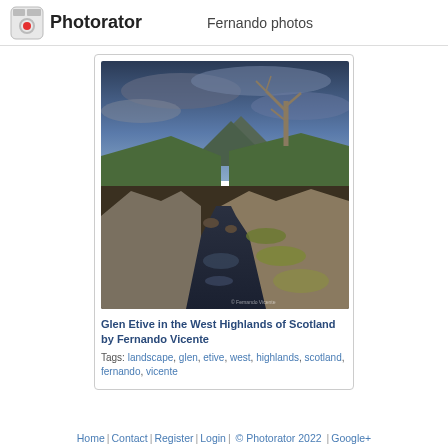Photorator | Fernando photos
[Figure (photo): Landscape photograph of Glen Etive in the West Highlands of Scotland, showing a mountain stream flowing through rocky terrain, with a bare dead tree silhouetted against a dramatic cloudy blue sky, green hills in the background.]
Glen Etive in the West Highlands of Scotland by Fernando Vicente
Tags: landscape, glen, etive, west, highlands, scotland, fernando, vicente
Home | Contact | Register | Login | © Photorator 2022 | Google+